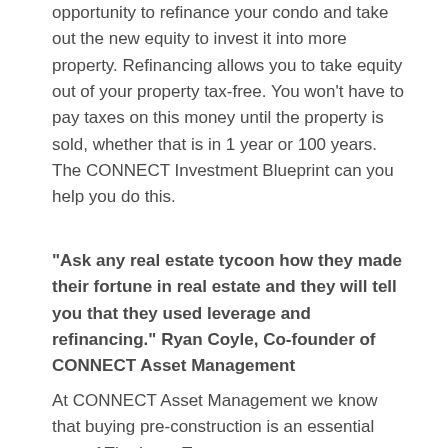opportunity to refinance your condo and take out the new equity to invest it into more property. Refinancing allows you to take equity out of your property tax-free. You won't have to pay taxes on this money until the property is sold, whether that is in 1 year or 100 years. The CONNECT Investment Blueprint can you help you do this.
“Ask any real estate tycoon how they made their fortune in real estate and they will tell you that they used leverage and refinancing.” Ryan Coyle, Co-founder of CONNECT Asset Management
At CONNECT Asset Management we know that buying pre-construction is an essential part of The Long-Term